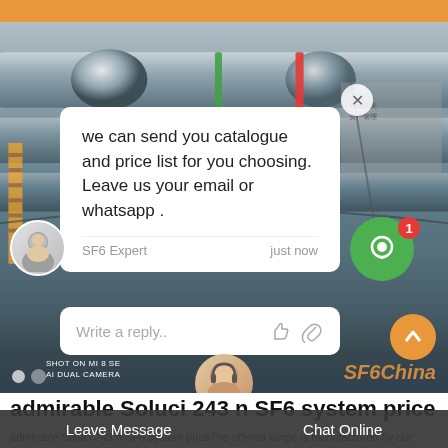[Figure (screenshot): Industrial pipe/valve equipment photo with live chat overlay. Chat bubble shows message: 'we can send you catalogue and price list for you choosing. Leave us your email or whatsapp.' from SF6 Expert, just now. Reply input box visible. Green chat icon with badge '1'. SFGChina watermark. Shot on MI 8 SE AI DUAL CAMERA text.]
admirable Soluci 243 n SF6 system price
admirable Soluci 243 n SF6 system priceThe offered range is manufactured by our vendors' skilled professionals with the help
Leave Message   Chat Online